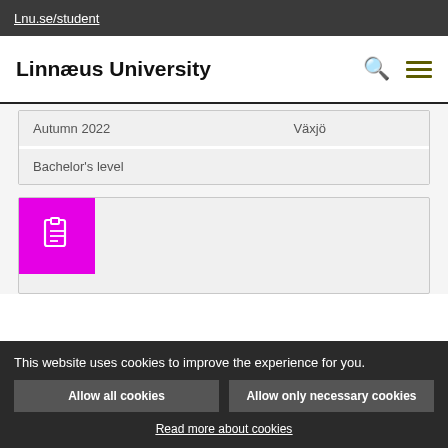Lnu.se/student
Linnæus University
| Autumn 2022 | Växjö |
| Bachelor's level |  |
[Figure (other): Document icon on magenta/pink background]
This website uses cookies to improve the experience for you.
Allow all cookies
Allow only necessary cookies
Read more about cookies